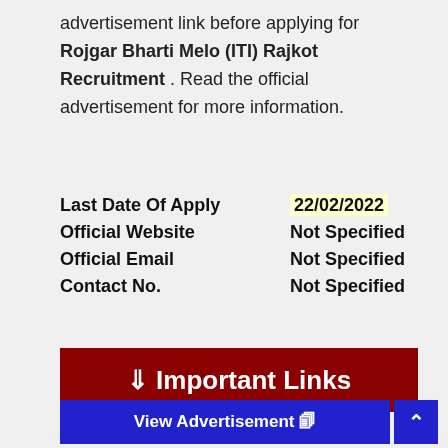advertisement link before applying for Rojgar Bharti Melo (ITI) Rajkot Recruitment . Read the official advertisement for more information.
| Field | Value |
| --- | --- |
| Last Date Of Apply | 22/02/2022 |
| Official Website | Not Specified |
| Official Email | Not Specified |
| Contact No. | Not Specified |
⇓ Important Links
View Advertisement 🗐